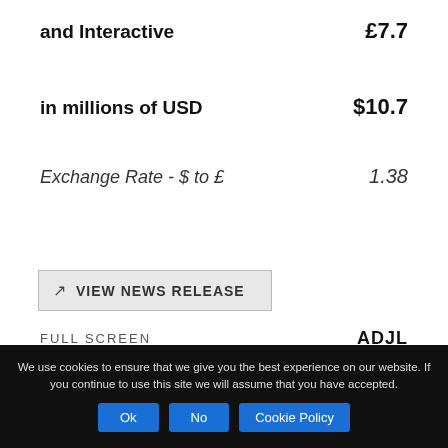and Interactive	£7.7
in millions of USD	$10.7
Exchange Rate - $ to £	1.38
VIEW NEWS RELEASE
FULL SCREEN	ADJL
We use cookies to ensure that we give you the best experience on our website. If you continue to use this site we will assume that you have accepted.
Ok
No
Cookie Policy